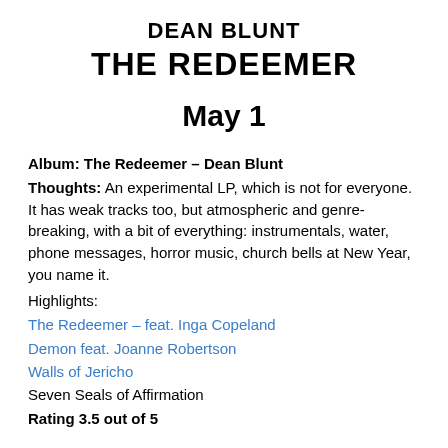DEAN BLUNT
THE REDEEMER
May 1
Album: The Redeemer – Dean Blunt
Thoughts: An experimental LP, which is not for everyone. It has weak tracks too, but atmospheric and genre-breaking, with a bit of everything: instrumentals, water, phone messages, horror music, church bells at New Year, you name it.
Highlights:
The Redeemer – feat. Inga Copeland
Demon feat. Joanne Robertson
Walls of Jericho
Seven Seals of Affirmation
Rating 3.5 out of 5